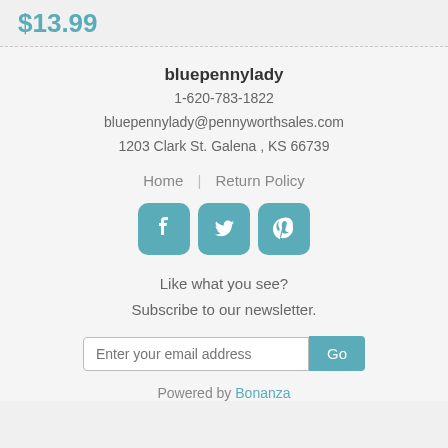$13.99
bluepennylady
1-620-783-1822
bluepennylady@pennyworthsales.com
1203 Clark St. Galena , KS 66739
Home | Return Policy
[Figure (infographic): Three social media icons: Facebook, Twitter, Pinterest — teal rounded square buttons]
Like what you see?
Subscribe to our newsletter.
Enter your email address  Go
Powered by Bonanza